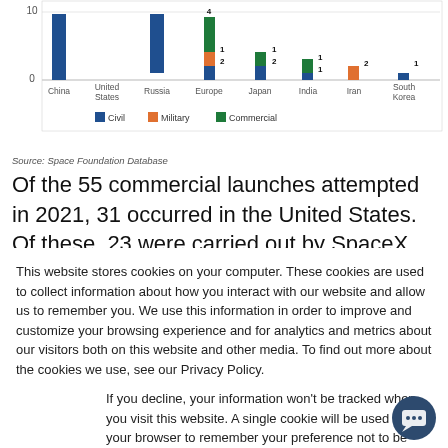[Figure (grouped-bar-chart): Space launches by country/region (2021)]
Source: Space Foundation Database
Of the 55 commercial launches attempted in 2021, 31 occurred in the United States. Of these, 23 were carried out by SpaceX, all of which were successful. China and Russia each conducted
This website stores cookies on your computer. These cookies are used to collect information about how you interact with our website and allow us to remember you. We use this information in order to improve and customize your browsing experience and for analytics and metrics about our visitors both on this website and other media. To find out more about the cookies we use, see our Privacy Policy.
If you decline, your information won't be tracked when you visit this website. A single cookie will be used in your browser to remember your preference not to be tracked.